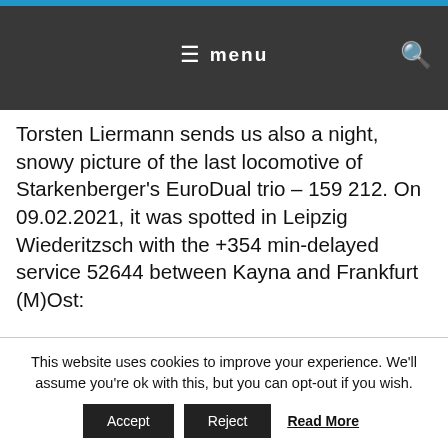menu
Torsten Liermann sends us also a night, snowy picture of the last locomotive of Starkenberger's EuroDual trio – 159 212. On 09.02.2021, it was spotted in Leipzig Wiederitzsch with the +354 min-delayed service 52644 between Kayna and Frankfurt (M)Ost:
[Figure (photo): Night photo of a locomotive pantograph/overhead wires in warm amber/orange lighting]
This website uses cookies to improve your experience. We'll assume you're ok with this, but you can opt-out if you wish.